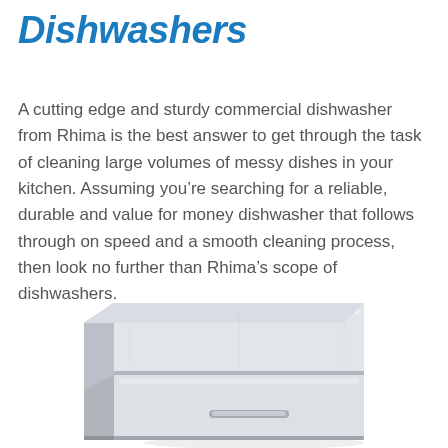Dishwashers
A cutting edge and sturdy commercial dishwasher from Rhima is the best answer to get through the task of cleaning large volumes of messy dishes in your kitchen. Assuming you’re searching for a reliable, durable and value for money dishwasher that follows through on speed and a smooth cleaning process, then look no further than Rhima’s scope of dishwashers.
[Figure (photo): A stainless steel commercial undercounter dishwasher with two compartments, a handle on the lower door, shown at a slight angle on a white background.]